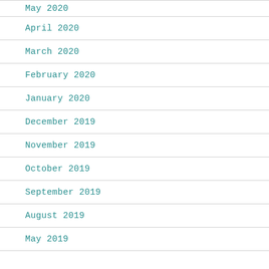May 2020
April 2020
March 2020
February 2020
January 2020
December 2019
November 2019
October 2019
September 2019
August 2019
May 2019